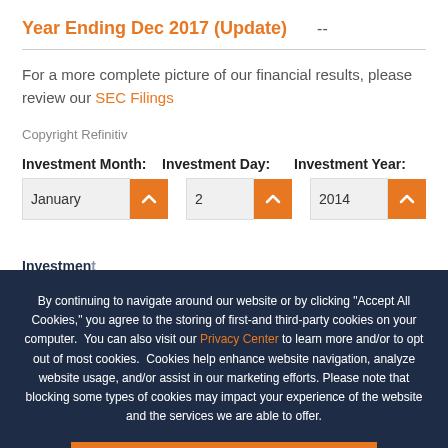Year Ending Dec 2017 (Update)  --
For a more complete picture of our financial results, please review our SEC Filings
Copyright Refinitiv
Investment Month:   Investment Day:   Investment Year:
January   2   2014
By continuing to navigate around our website or by clicking "Accept All Cookies," you agree to the storing of first-and third-party cookies on your computer.  You can also visit our Privacy Center to learn more and/or to opt out of most cookies.  Cookies help enhance website navigation, analyze website usage, and/or assist in our marketing efforts. Please note that blocking some types of cookies may impact your experience of the website and the services we are able to offer.
ACCEPT ALL COOKIES
Investment Date   01
Original Shares